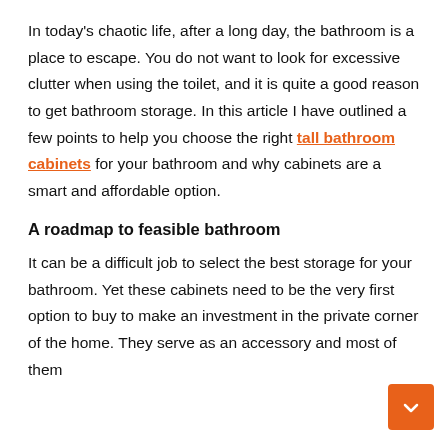In today's chaotic life, after a long day, the bathroom is a place to escape. You do not want to look for excessive clutter when using the toilet, and it is quite a good reason to get bathroom storage. In this article I have outlined a few points to help you choose the right tall bathroom cabinets for your bathroom and why cabinets are a smart and affordable option.
A roadmap to feasible bathroom
It can be a difficult job to select the best storage for your bathroom. Yet these cabinets need to be the very first option to buy to make an investment in the private corner of the home. They serve as an accessory and most of them